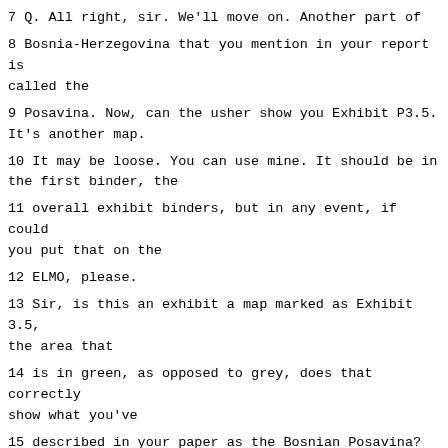7 Q. All right, sir. We'll move on. Another part of
8 Bosnia-Herzegovina that you mention in your report is called the
9 Posavina. Now, can the usher show you Exhibit P3.5. It's another map.
10 It may be loose. You can use mine. It should be in the first binder, the
11 overall exhibit binders, but in any event, if could you put that on the
12 ELMO, please.
13 Sir, is this an exhibit a map marked as Exhibit 3.5, the area that
14 is in green, as opposed to grey, does that correctly show what you've
15 described in your paper as the Bosnian Posavina?
16 A. Yes.
17 Q. And, sir, around the same time that the Croatian Community of
18 Herceg-Bosna was declared in 1991, was there not also another entity